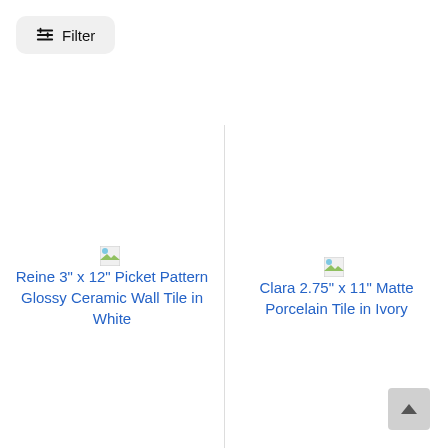Filter
Reine 3" x 12" Picket Pattern Glossy Ceramic Wall Tile in White
Clara 2.75" x 11" Matte Porcelain Tile in Ivory